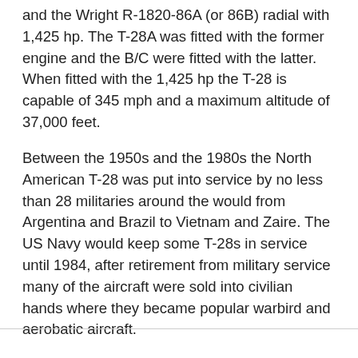and the Wright R-1820-86A (or 86B) radial with 1,425 hp. The T-28A was fitted with the former engine and the B/C were fitted with the latter. When fitted with the 1,425 hp the T-28 is capable of 345 mph and a maximum altitude of 37,000 feet.
Between the 1950s and the 1980s the North American T-28 was put into service by no less than 28 militaries around the would from Argentina and Brazil to Vietnam and Zaire. The US Navy would keep some T-28s in service until 1984, after retirement from military service many of the aircraft were sold into civilian hands where they became popular warbird and aerobatic aircraft.
The lower cost of operation compared to many warbirds has kept the model popular over the years and they're a frequent sight at both air shows and museums.